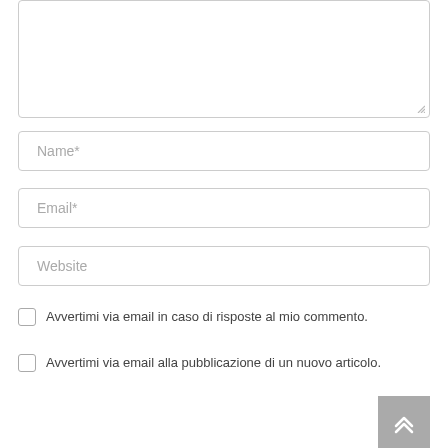[Figure (screenshot): Textarea input box (comment field) partially visible at top of page, with resize handle at bottom-right corner]
Name*
Email*
Website
Avvertimi via email in caso di risposte al mio commento.
Avvertimi via email alla pubblicazione di un nuovo articolo.
[Figure (screenshot): Gray scroll-to-top button with double chevron up arrow, positioned at bottom right]